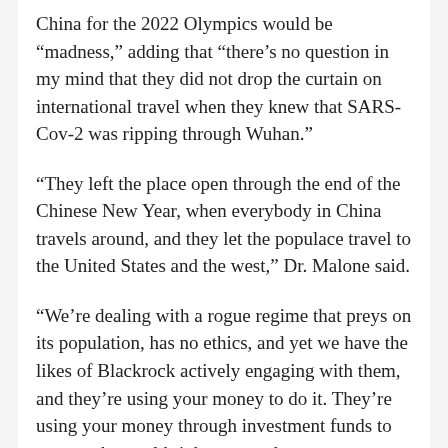China for the 2022 Olympics would be “madness,” adding that “there’s no question in my mind that they did not drop the curtain on international travel when they knew that SARS-Cov-2 was ripping through Wuhan.”
“They left the place open through the end of the Chinese New Year, when everybody in China travels around, and they let the populace travel to the United States and the west,” Dr. Malone said.
“We’re dealing with a rogue regime that preys on its population, has no ethics, and yet we have the likes of Blackrock actively engaging with them, and they’re using your money to do it. They’re using your money through investment funds to corrupt the world right now and